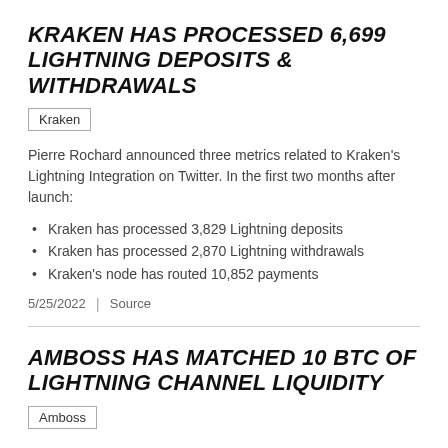KRAKEN HAS PROCESSED 6,699 LIGHTNING DEPOSITS & WITHDRAWALS
Kraken
Pierre Rochard announced three metrics related to Kraken's Lightning Integration on Twitter. In the first two months after launch:
Kraken has processed 3,829 Lightning deposits
Kraken has processed 2,870 Lightning withdrawals
Kraken's node has routed 10,852 payments
5/25/2022  |  Source
AMBOSS HAS MATCHED 10 BTC OF LIGHTNING CHANNEL LIQUIDITY
Amboss